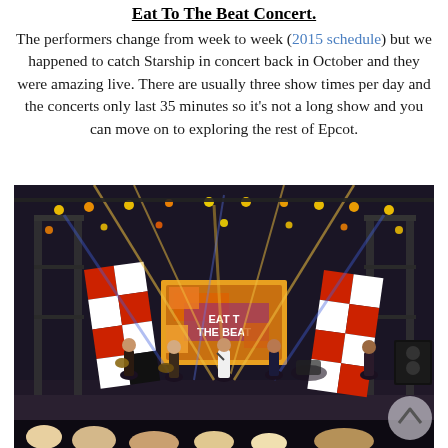Eat To The Beat Concert.
The performers change from week to week (2015 schedule) but we happened to catch Starship in concert back in October and they were amazing live. There are usually three show times per day and the concerts only last 35 minutes so it's not a long show and you can move on to exploring the rest of Epcot.
[Figure (photo): Concert stage photo showing band performing at Eat To The Beat concert at Epcot. The stage has colorful lighting with blue and yellow beams, large red and white geometric panels on the sides, and a central screen displaying 'Eat To The Beat' logo. Several band members are visible on stage with instruments.]